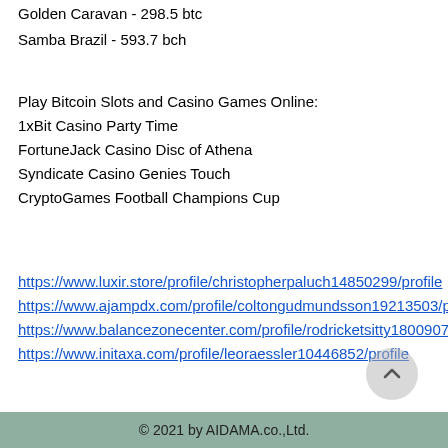Golden Caravan - 298.5 btc
Samba Brazil - 593.7 bch
Play Bitcoin Slots and Casino Games Online:
1xBit Casino Party Time
FortuneJack Casino Disc of Athena
Syndicate Casino Genies Touch
CryptoGames Football Champions Cup
https://www.luxir.store/profile/christopherpaluch14850299/profile https://www.ajampdx.com/profile/coltongudmundsson19213503/profile https://www.balancezonecenter.com/profile/rodricketsitty18009075/profile https://www.initaxa.com/profile/leoraessler10446852/profile
© 2021 by AIDAMA.co.,Ltd.